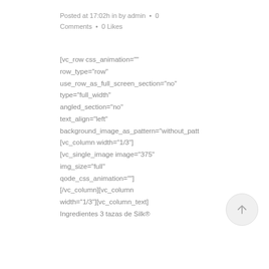Posted at 17:02h in by admin • 0 Comments • 0 Likes
[vc_row css_animation="" row_type="row" use_row_as_full_screen_section="no" type="full_width" angled_section="no" text_align="left" background_image_as_pattern="without_patt [vc_column width="1/3"] [vc_single_image image="375" img_size="full" qode_css_animation=""] [/vc_column][vc_column width="1/3"][vc_column_text] Ingredientes 3 tazas de Silk®